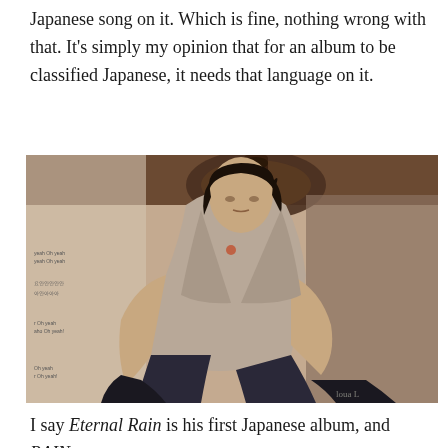Japanese song on it. Which is fine, nothing wrong with that. It's simply my opinion that for an album to be classified Japanese, it needs that language on it.
[Figure (photo): Album artwork or photoshoot image of a young Asian man with dark hair, wearing an open light-colored jacket and dark pants with boots, seated on an ornate chair with a decorative metal object in the background. Small text visible on the left side of the image.]
I say Eternal Rain is his first Japanese album, and RAIN: